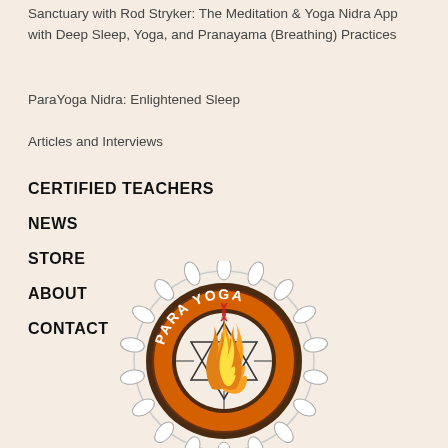Sanctuary with Rod Stryker: The Meditation & Yoga Nidra App with Deep Sleep, Yoga, and Pranayama (Breathing) Practices
ParaYoga Nidra: Enlightened Sleep
Articles and Interviews
CERTIFIED TEACHERS
NEWS
STORE
ABOUT
CONTACT
[Figure (logo): ParaYoga circular logo with orange text reading PARA YOGA, flames in the center, decorative mandala border, and a red serpent/DNA symbol at the top]